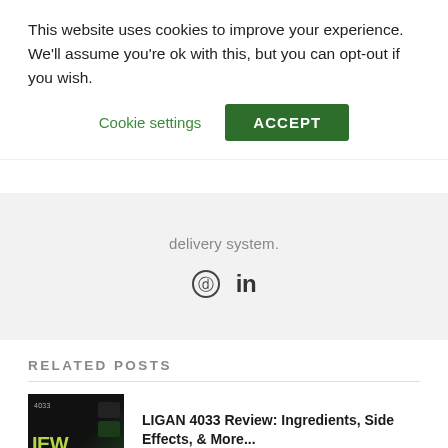This website uses cookies to improve your experience. We'll assume you're ok with this, but you can opt-out if you wish.
Cookie settings | ACCEPT
delivery system.
[Figure (other): Social sharing icons: Pinterest and LinkedIn]
RELATED POSTS
[Figure (photo): Thumbnail image for LIGAN 4033 review article, dark background with green text showing '4033' and 'IEW']
LIGAN 4033 Review: Ingredients, Side Effects, & More...
[Figure (photo): Thumbnail image for second related post, black background]